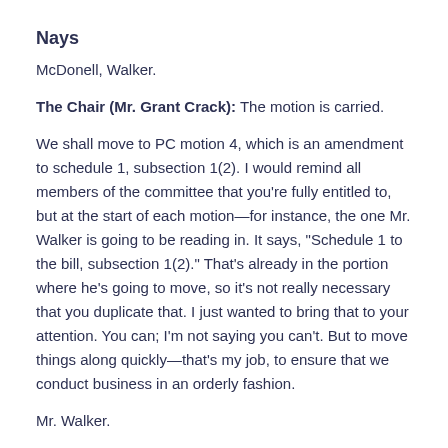Nays
McDonell, Walker.
The Chair (Mr. Grant Crack): The motion is carried.
We shall move to PC motion 4, which is an amendment to schedule 1, subsection 1(2). I would remind all members of the committee that you’re fully entitled to, but at the start of each motion—for instance, the one Mr. Walker is going to be reading in. It says, “Schedule 1 to the bill, subsection 1(2).” That’s already in the portion where he’s going to move, so it’s not really necessary that you duplicate that. I just wanted to bring that to your attention. You can; I’m not saying you can’t. But to move things along quickly—that’s my job, to ensure that we conduct business in an orderly fashion.
Mr. Walker.
Mr. Bill Walker: Thank you, Mr. Chair. In the spirit of